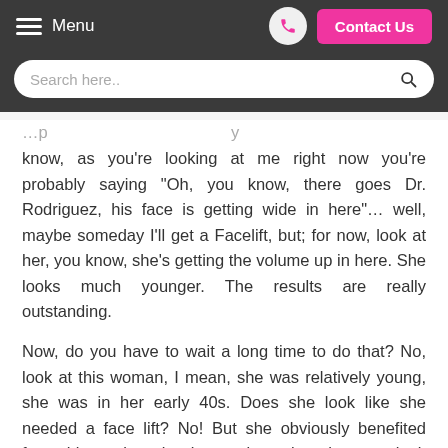Menu | Phone | Contact Us
Search here..
know, as you're looking at me right now you're probably saying "Oh, you know, there goes Dr. Rodriguez, his face is getting wide in here"… well, maybe someday I'll get a Facelift, but; for now, look at her, you know, she's getting the volume up in here. She looks much younger. The results are really outstanding.
Now, do you have to wait a long time to do that? No, look at this woman, I mean, she was relatively young, she was in her early 40s. Does she look like she needed a face lift? No! But she obviously benefited from this. and again okay notice – just the eyes look more relaxed, the volume on the cheeks, the OG curve, she just looks much better.